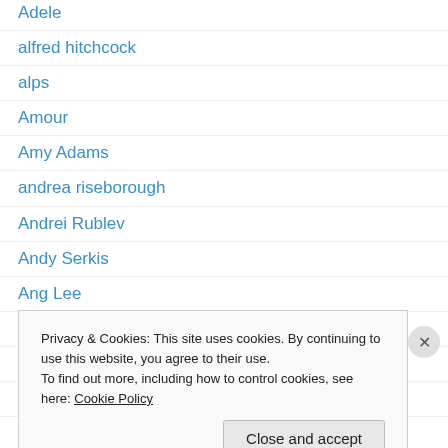Adele
alfred hitchcock
alps
Amour
Amy Adams
andrea riseborough
Andrei Rublev
Andy Serkis
Ang Lee
animated feature
Anna Karenina
Anna Kendrick
Anne Bancroft
Privacy & Cookies: This site uses cookies. By continuing to use this website, you agree to their use.
To find out more, including how to control cookies, see here: Cookie Policy